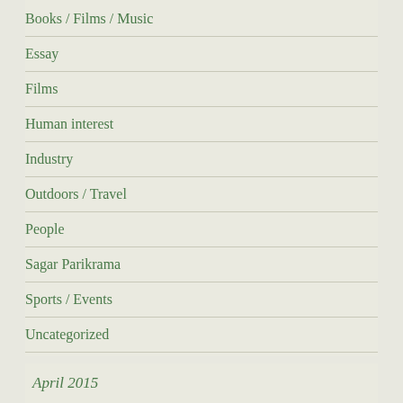Books / Films / Music
Essay
Films
Human interest
Industry
Outdoors / Travel
People
Sagar Parikrama
Sports / Events
Uncategorized
April 2015
| M | T | W | T | F | S | S |
| --- | --- | --- | --- | --- | --- | --- |
|  | 1 | 2 | 3 | 4 | 5 |